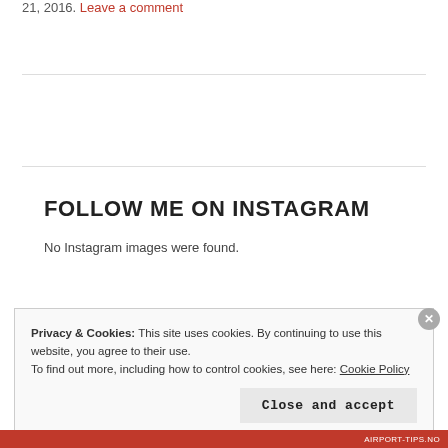21, 2016. Leave a comment
FOLLOW ME ON INSTAGRAM
No Instagram images were found.
Privacy & Cookies: This site uses cookies. By continuing to use this website, you agree to their use.
To find out more, including how to control cookies, see here: Cookie Policy
Close and accept